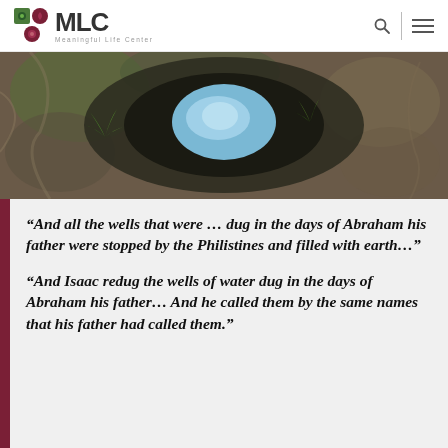MLC Meaningful Life Center
[Figure (photo): View looking down into a stone well with a circular opening showing sky/water at the bottom, surrounded by mossy rocks and ferns]
“And all the wells that were … dug in the days of Abraham his father were stopped by the Philistines and filled with earth…”
“And Isaac redug the wells of water dug in the days of Abraham his father… And he called them by the same names that his father had called them.”